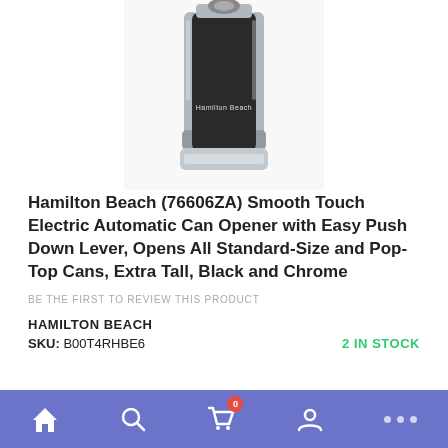[Figure (photo): Hamilton Beach Smooth Touch Electric Can Opener product photo, tall black and chrome device on white background]
Hamilton Beach (76606ZA) Smooth Touch Electric Automatic Can Opener with Easy Push Down Lever, Opens All Standard-Size and Pop-Top Cans, Extra Tall, Black and Chrome
BE THE FIRST TO REVIEW THIS PRODUCT
HAMILTON BEACH
SKU: B00T4RHBE6
2 IN STOCK